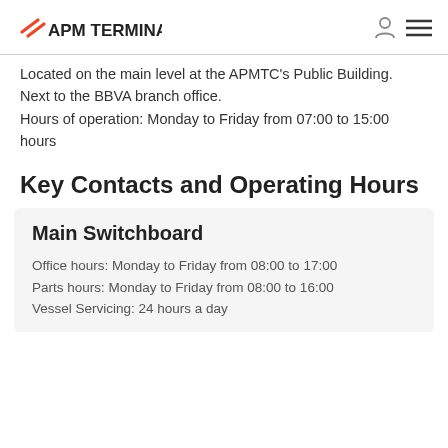APM TERMINALS
Located on the main level at the APMTC's Public Building.
Next to the BBVA branch office.
Hours of operation: Monday to Friday from 07:00 to 15:00 hours
Key Contacts and Operating Hours
Main Switchboard
Office hours: Monday to Friday from 08:00 to 17:00
Parts hours: Monday to Friday from 08:00 to 16:00
Vessel Servicing: 24 hours a day